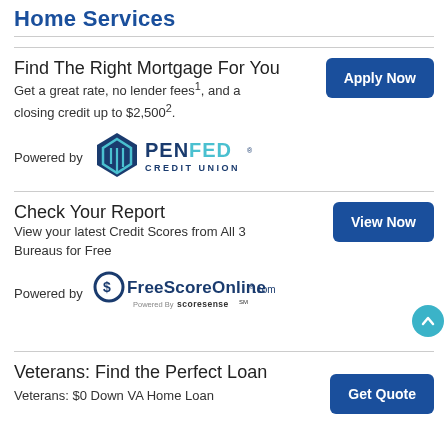Home Services
Find The Right Mortgage For You
Get a great rate, no lender fees1, and a closing credit up to $2,5002.
[Figure (logo): PenFed Credit Union logo — pentagon shield icon with PENFED CREDIT UNION text]
Check Your Report
View your latest Credit Scores from All 3 Bureaus for Free
[Figure (logo): FreeScoreOnline.com logo with Powered By ScoreSense beneath]
Veterans: Find the Perfect Loan
Veterans: $0 Down VA Home Loan